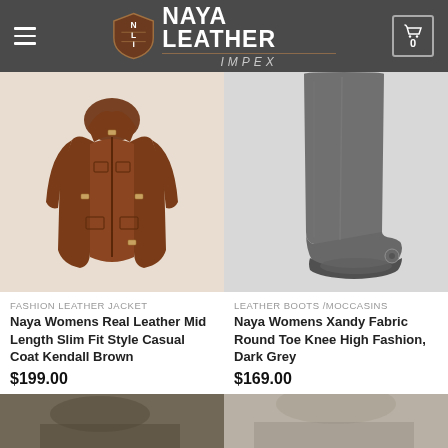Naya Leather Impex — website header with logo and navigation
[Figure (photo): Brown leather women's mid-length jacket product photo on white background]
FASHION LEATHER JACKET
Naya Womens Real Leather Mid Length Slim Fit Style Casual Coat Kendall Brown
$199.00
[Figure (photo): Dark grey knee-high leather boots product photo on white background]
LEATHER BOOTS /MOCCASINS
Naya Womens Xandy Fabric Round Toe Knee High Fashion, Dark Grey
$169.00
[Figure (photo): Partial product image bottom left — partially visible]
[Figure (photo): Partial product image bottom right — partially visible]